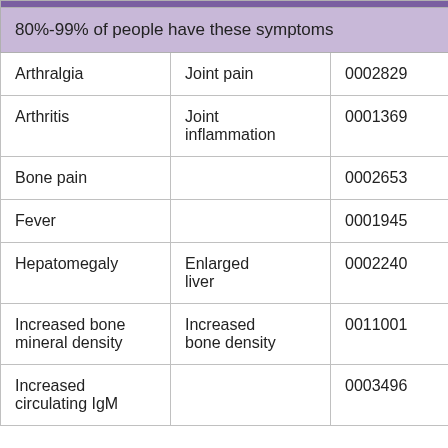|  |  |  |
| --- | --- | --- |
| 80%-99% of people have these symptoms |  |  |
| Arthralgia | Joint pain | 0002829 |
| Arthritis | Joint inflammation | 0001369 |
| Bone pain |  | 0002653 |
| Fever |  | 0001945 |
| Hepatomegaly | Enlarged liver | 0002240 |
| Increased bone mineral density | Increased bone density | 0011001 |
| Increased circulating IgM |  | 0003496 |